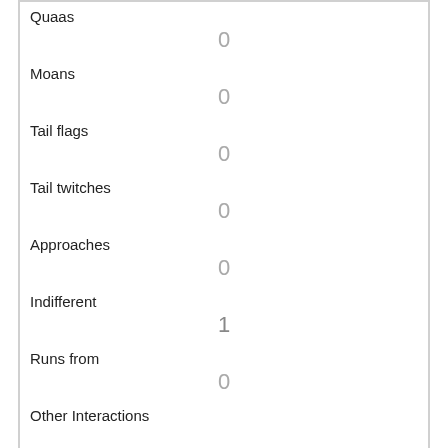| Quaas | 0 |
| Moans | 0 |
| Tail flags | 0 |
| Tail twitches | 0 |
| Approaches | 0 |
| Indifferent | 1 |
| Runs from | 0 |
| Other Interactions |  |
| Lat/Long | POINT (-73.9684463154398 40.7834813319352) |
| Link | 334 |